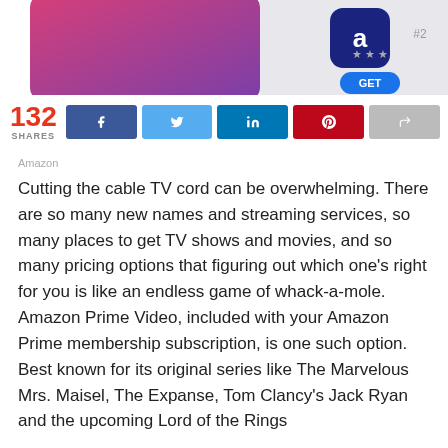[Figure (photo): Cropped screenshot of an app store page with a pink/purple gradient phone screen on the left, a dark blue Amazon app icon in center, and a blue GET button on a gray background to the right. Stars and #2 ranking visible.]
132
SHARES
Amazon
Cutting the cable TV cord can be overwhelming. There are so many new names and streaming services, so many places to get TV shows and movies, and so many pricing options that figuring out which one's right for you is like an endless game of whack-a-mole. Amazon Prime Video, included with your Amazon Prime membership subscription, is one such option. Best known for its original series like The Marvelous Mrs. Maisel, The Expanse, Tom Clancy's Jack Ryan and the upcoming Lord of the Rings